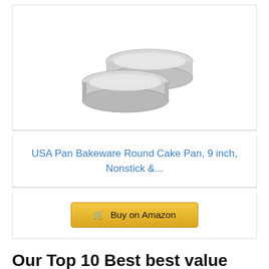[Figure (photo): Two silver/aluminum round cake pans, one stacked slightly behind and to the right of the other, shown from a slight angle above.]
USA Pan Bakeware Round Cake Pan, 9 inch, Nonstick &...
Buy on Amazon
Our Top 10 Best best value cookware canada Reviews
BESTSELLER NO. 1